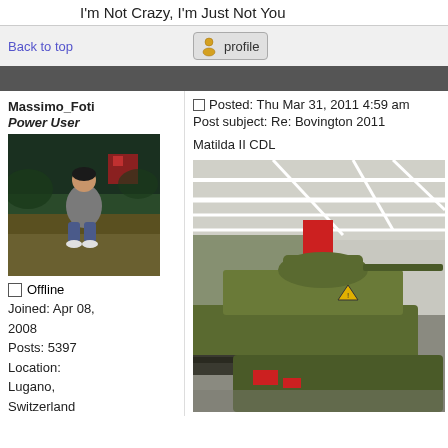I'm Not Crazy, I'm Just Not You
Back to top
[Figure (other): Profile button with user icon]
Massimo_Foti
Power User
[Figure (photo): User avatar photo of man sitting on a tank outdoors]
Offline
Joined: Apr 08, 2008
Posts: 5397
Location: Lugano, Switzerland
Posted: Thu Mar 31, 2011 4:59 am
Post subject: Re: Bovington 2011
Matilda II CDL
[Figure (photo): Photo of Matilda II CDL tank inside museum at Bovington]